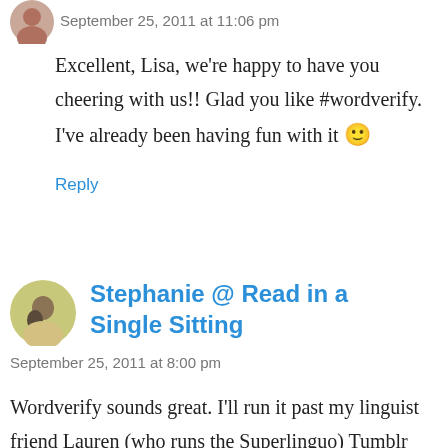[Figure (photo): Circular avatar photo of a woman, partially visible at top]
September 25, 2011 at 11:06 pm
Excellent, Lisa, we’re happy to have you cheering with us!! Glad you like #wordverify. I’ve already been having fun with it 🙂
Reply
[Figure (photo): Circular avatar photo of a person with yellow/green background]
Stephanie @ Read in a Single Sitting
September 25, 2011 at 8:00 pm
Wordverify sounds great. I’ll run it past my linguist friend Lauren (who runs the Superlinguo) Tumblr